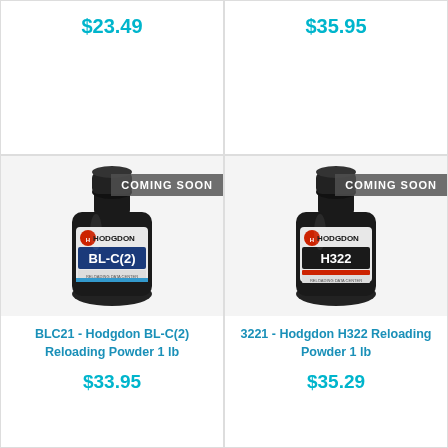$23.49
$35.95
[Figure (photo): Hodgdon BL-C(2) Reloading Powder 1 lb bottle with COMING SOON banner]
BLC21 - Hodgdon BL-C(2) Reloading Powder 1 lb
$33.95
[Figure (photo): Hodgdon H322 Reloading Powder 1 lb bottle with COMING SOON banner]
3221 - Hodgdon H322 Reloading Powder 1 lb
$35.29